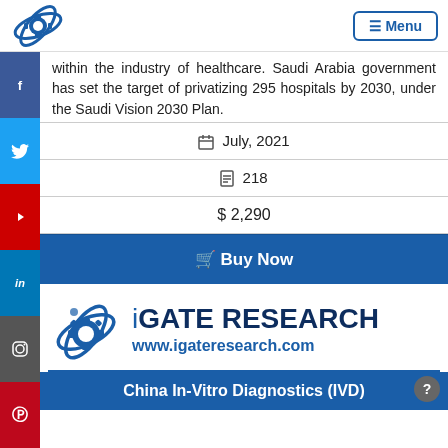iGATE RESEARCH — Menu
within the industry of healthcare. Saudi Arabia government has set the target of privatizing 295 hospitals by 2030, under the Saudi Vision 2030 Plan.
July, 2021
218
$ 2,290
Buy Now
[Figure (logo): iGATE Research logo with gear and orbit graphic, text: iGATE RESEARCH, www.igateresearch.com]
China In-Vitro Diagnostics (IVD)